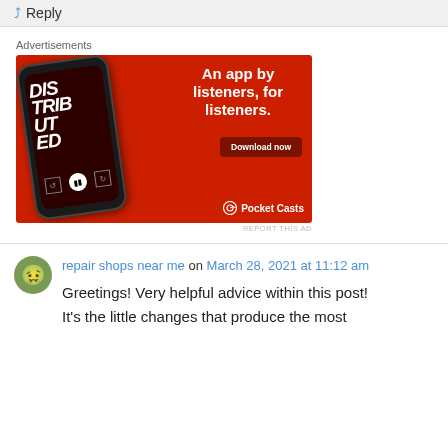↵ Reply
Advertisements
[Figure (illustration): Pocket Casts advertisement banner on red background showing a smartphone with podcast app open (showing 'Distributed' podcast), text 'An app by listeners, for listeners.' with 'Download now' button and Pocket Casts logo]
repair shops near me on March 28, 2021 at 11:12 am
Greetings! Very helpful advice within this post! It's the little changes that produce the most